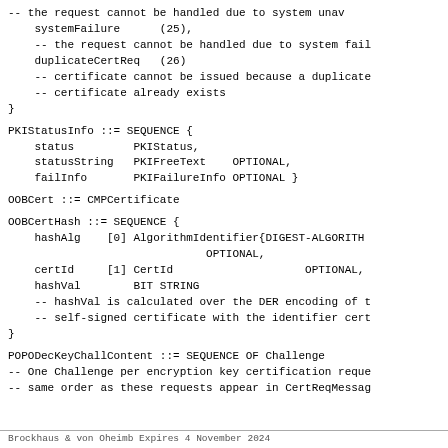-- the request cannot be handled due to system unavailability
    systemFailure      (25),
    -- the request cannot be handled due to system failure
    duplicateCertReq   (26)
    -- certificate cannot be issued because a duplicate
    -- certificate already exists
}
PKIStatusInfo ::= SEQUENCE {
    status         PKIStatus,
    statusString   PKIFreeText    OPTIONAL,
    failInfo       PKIFailureInfo OPTIONAL }
OOBCert ::= CMPCertificate
OOBCertHash ::= SEQUENCE {
    hashAlg    [0] AlgorithmIdentifier{DIGEST-ALGORITHMS}
                              OPTIONAL,
    certId     [1] CertId                    OPTIONAL,
    hashVal        BIT STRING
    -- hashVal is calculated over the DER encoding of t
    -- self-signed certificate with the identifier cert
}
POPODecKeyChallContent ::= SEQUENCE OF Challenge
-- One Challenge per encryption key certification reque
-- same order as these requests appear in CertReqMessag
Brockhaus & von Oheimb    Expires 4 November 2024